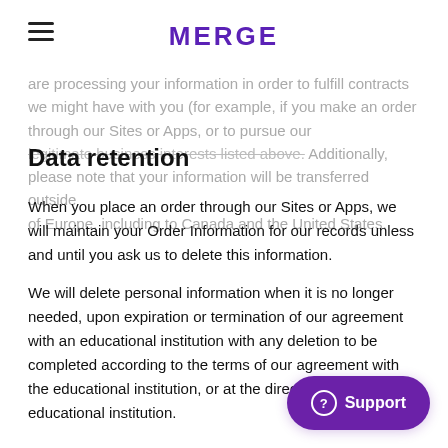MERGE
are processing your information in order to fulfill contracts we might have with you (for example, if you make an order through our Sites or Apps, or to pursue our legitimate business interests listed above. Additionally, please note that your information will be transferred outside of Europe, including to Canada and the United States.
Data retention
When you place an order through our Sites or Apps, we will maintain your Order Information for our records unless and until you ask us to delete this information.
We will delete personal information when it is no longer needed, upon expiration or termination of our agreement with an educational institution with any deletion to be completed according to the terms of our agreement with the educational institution, or at the direction of the educational institution.